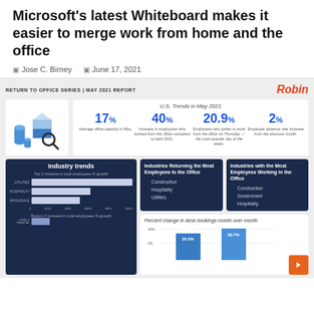Microsoft's latest Whiteboard makes it easier to merge work from home and the office
Jose C. Birney   June 17, 2021
RETURN TO OFFICE SERIES | MAY 2021 REPORT
[Figure (infographic): Robin logo and U.S. Trends in May 2021 infographic showing: 17% Average office capacity in May, 40% Increase in employees who worked from the office compared to April 2021, 20.9% Employees who prefer to work from the office on Thursday — the most popular day of the week, 2% Employee absence rate increase from the previous month]
[Figure (bar-chart): Top 3 increase in total employees % growth: Utilities, Hospitality, Wholesale. Bottom 3 increase in total employees % growth]
Industries Returning the Most Employees to the Office
1. Construction
2. Hospitality
3. Utilities
Industries with the Most Employees Working in the Office
1. Construction
2. Government
3. Hospitality
[Figure (bar-chart): Bar chart showing percent change in desk bookings with values 26.2% and 39.7%]